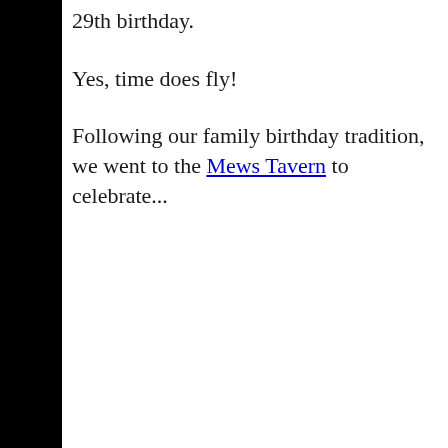29th birthday.
Yes, time does fly!
Following our family birthday tradition, we went to the Mews Tavern to celebrate...